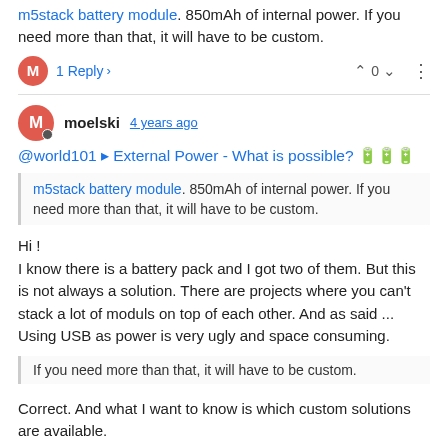m5stack battery module. 850mAh of internal power. If you need more than that, it will have to be custom.
1 Reply > ^ 0 v
moelski 4 years ago
@world101 ▶ External Power - What is possible? 🔋🔋🔋
m5stack battery module. 850mAh of internal power. If you need more than that, it will have to be custom.
Hi!
I know there is a battery pack and I got two of them. But this is not always a solution. There are projects where you can't stack a lot of moduls on top of each other. And as said ... Using USB as power is very ugly and space consuming.
If you need more than that, it will have to be custom.
Correct. And what I want to know is which custom solutions are available.